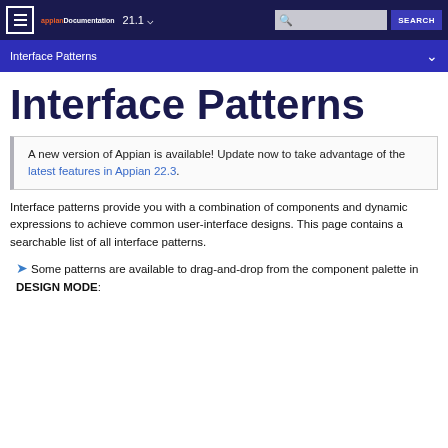appian Documentation  21.1  SEARCH
Interface Patterns
Interface Patterns
A new version of Appian is available! Update now to take advantage of the latest features in Appian 22.3.
Interface patterns provide you with a combination of components and dynamic expressions to achieve common user-interface designs. This page contains a searchable list of all interface patterns.
Some patterns are available to drag-and-drop from the component palette in DESIGN MODE: